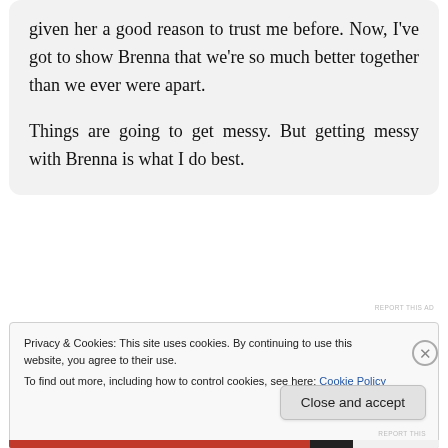given her a good reason to trust me before. Now, I've got to show Brenna that we're so much better together than we ever were apart.

Things are going to get messy. But getting messy with Brenna is what I do best.
REPORT THIS AD
Privacy & Cookies: This site uses cookies. By continuing to use this website, you agree to their use.
To find out more, including how to control cookies, see here: Cookie Policy
Close and accept